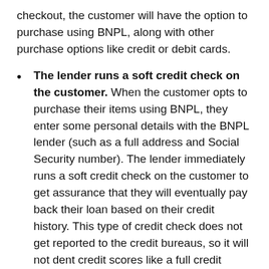checkout, the customer will have the option to purchase using BNPL, along with other purchase options like credit or debit cards.
The lender runs a soft credit check on the customer. When the customer opts to purchase their items using BNPL, they enter some personal details with the BNPL lender (such as a full address and Social Security number). The lender immediately runs a soft credit check on the customer to get assurance that they will eventually pay back their loan based on their credit history. This type of credit check does not get reported to the credit bureaus, so it will not dent credit scores like a full credit check might.
The BNPL vendor charges a fee to the